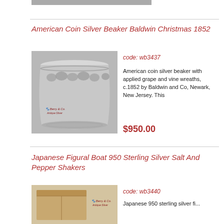[Figure (photo): Gray navigation bar at top of page]
American Coin Silver Beaker Baldwin Christmas 1852
[Figure (photo): Black and white photo of an American coin silver beaker with applied grape and vine wreaths, with Berry & Co. Antique Silver watermark]
code: wb3437
American coin silver beaker with applied grape and vine wreaths, c.1852 by Baldwin and Co, Newark, New Jersey. This
$950.00
Japanese Figural Boat 950 Sterling Silver Salt And Pepper Shakers
[Figure (photo): Photo of a wooden box with Berry & Co. Antique Silver watermark, partially shown]
code: wb3440
Japanese 950 sterling silver fi...